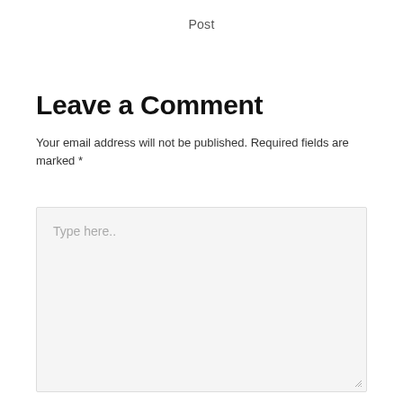Post
Leave a Comment
Your email address will not be published. Required fields are marked *
[Figure (screenshot): A large text area input box with placeholder text 'Type here..' and a resize handle in the bottom-right corner. The box has a light gray background and a border.]